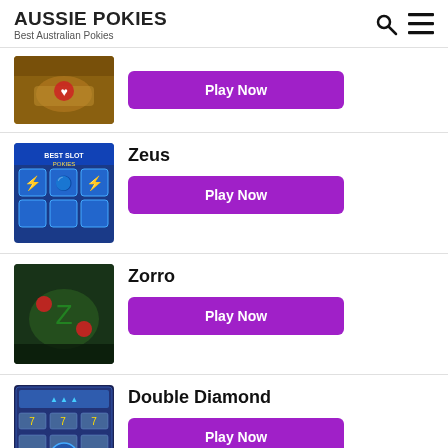AUSSIE POKIES — Best Australian Pokies
[Figure (screenshot): Partial game thumbnail (top item, cropped)]
Play Now
[Figure (screenshot): Zeus slot game thumbnail]
Zeus
Play Now
[Figure (screenshot): Zorro slot game thumbnail]
Zorro
Play Now
[Figure (screenshot): Double Diamond slot game thumbnail]
Double Diamond
Play Now